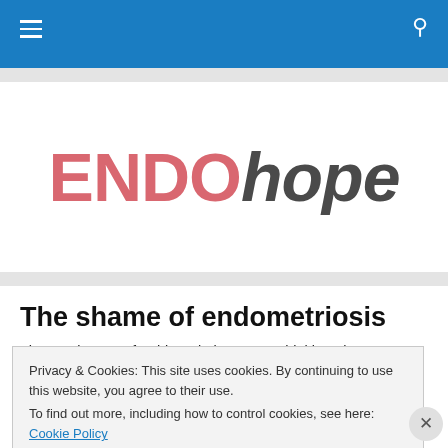ENDOhope – navigation bar with hamburger menu and search icon
[Figure (logo): ENDOhope website logo — ENDO in bold pink/red, hope in bold italic dark grey]
The shame of endometriosis
The starting post for this website got me thinking about
Privacy & Cookies: This site uses cookies. By continuing to use this website, you agree to their use.
To find out more, including how to control cookies, see here: Cookie Policy
Close and accept